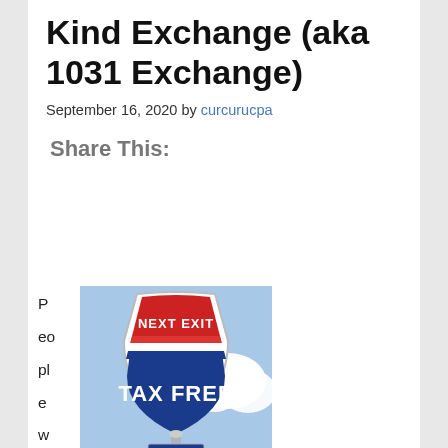Kind Exchange (aka 1031 Exchange)
September 16, 2020 by curcurucpa
Share This:
People who
[Figure (photo): Highway interstate shield road sign reading 'NEXT EXIT' in red at top and 'TAX FREE' in large white letters on blue, with blue sky and clouds in background.]